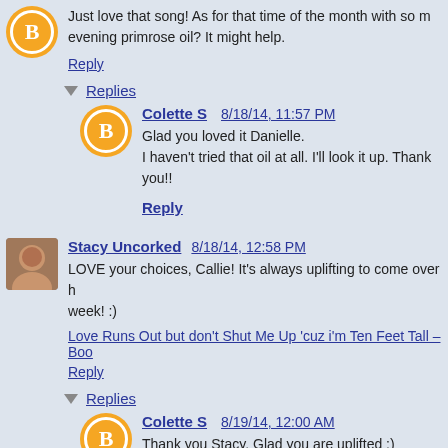Just love that song! As for that time of the month with so m... evening primrose oil? It might help.
Reply
Replies
Colette S   8/18/14, 11:57 PM
Glad you loved it Danielle.
I haven't tried that oil at all. I'll look it up. Thank you!!
Reply
Stacy Uncorked   8/18/14, 12:58 PM
LOVE your choices, Callie! It's always uplifting to come over h... week! :)
Love Runs Out but don't Shut Me Up 'cuz i'm Ten Feet Tall – Boo…
Reply
Replies
Colette S   8/19/14, 12:00 AM
Thank you Stacy. Glad you are uplifted :) *HUG*S